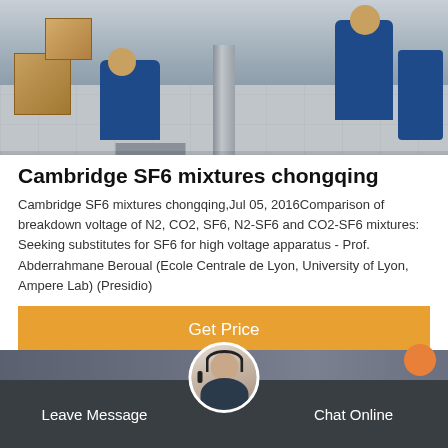[Figure (photo): Workers in blue uniforms installing or working with equipment on a tiled floor, with cardboard boxes and a metal pole/column visible.]
Cambridge SF6 mixtures chongqing
Cambridge SF6 mixtures chongqing,Jul 05, 2016Comparison of breakdown voltage of N2, CO2, SF6, N2-SF6 and CO2-SF6 mixtures: Seeking substitutes for SF6 for high voltage apparatus - Prof. Abderrahmane Beroual (Ecole Centrale de Lyon, University of Lyon, Ampere Lab) (Presidio)
Get Price
Leave Message
Chat Online